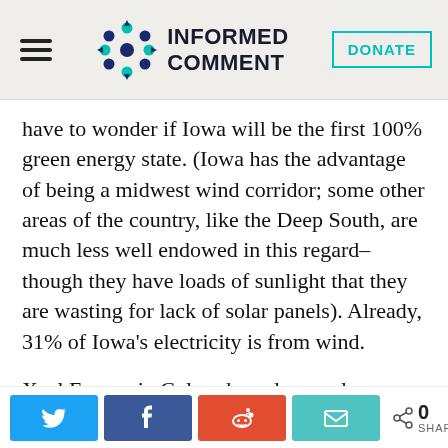Informed Comment
have to wonder if Iowa will be the first 100% green energy state. (Iowa has the advantage of being a midwest wind corridor; some other areas of the country, like the Deep South, are much less well endowed in this regard– though they have loads of sunlight that they are wasting for lack of solar panels). Already, 31% of Iowa's electricity is from wind.
Xcel Energy in Colorado and several
0 SHARES